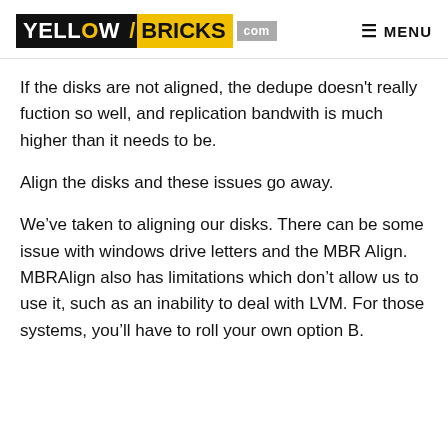YELLOW/BRICKS.com | MENU
If the disks are not aligned, the dedupe doesn't really fuction so well, and replication bandwith is much higher than it needs to be.
Align the disks and these issues go away.
We’ve taken to aligning our disks. There can be some issue with windows drive letters and the MBR Align. MBRAlign also has limitations which don’t allow us to use it, such as an inability to deal with LVM. For those systems, you’ll have to roll your own option B.